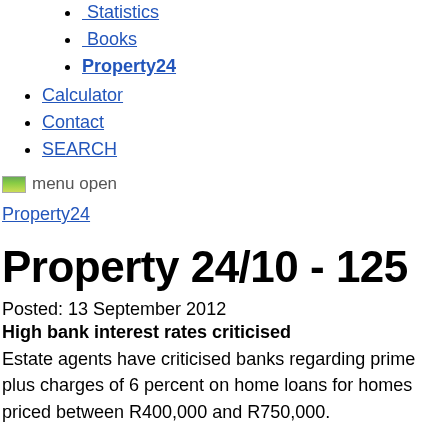Statistics
Books
Property24
Calculator
Contact
SEARCH
menu open
Property24
Property 24/10 - 125
Posted: 13 September 2012
High bank interest rates criticised
Estate agents have criticised banks regarding prime plus charges of 6 percent on home loans for homes priced between R400,000 and R750,000.